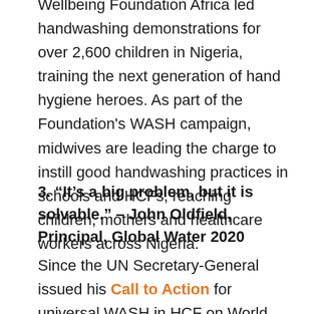Wellbeing Foundation Africa led handwashing demonstrations for over 2,600 children in Nigeria, training the next generation of hand hygiene heroes. As part of the Foundation's WASH campaign, midwives are leading the charge to instill good handwashing practices in schools and HCFs, reaching children, mothers and healthcare workers across Nigeria.
3. “It’s a big problem, but it is solvable.” – John Oldfield, Principal, Global Water 2020
Since the UN Secretary-General issued his Call to Action for universal WASH in HCF on World Water Day, March 22, 2018, significant progress